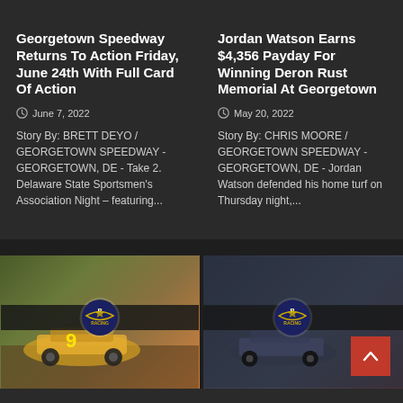Georgetown Speedway Returns To Action Friday, June 24th With Full Card Of Action
June 7, 2022
Story By: BRETT DEYO / GEORGETOWN SPEEDWAY - GEORGETOWN, DE - Take 2.  Delaware State Sportsmen's Association Night – featuring...
Jordan Watson Earns $4,356 Payday For Winning Deron Rust Memorial At Georgetown
May 20, 2022
Story By: CHRIS MOORE / GEORGETOWN SPEEDWAY - GEORGETOWN, DE - Jordan Watson defended his home turf on Thursday night,...
[Figure (photo): Racing car photo with RP logo overlay on horizontal bar, left card]
[Figure (photo): Racing car photo with RP logo overlay on horizontal bar, right card, with red scroll-to-top button]